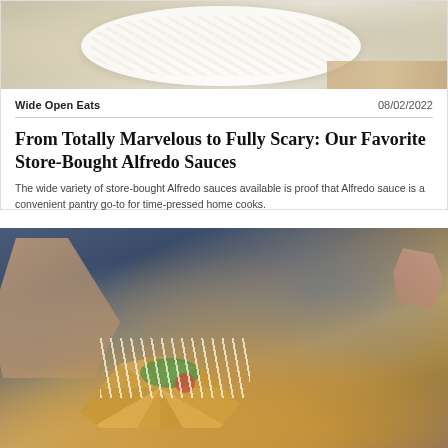[Figure (photo): Close-up photo of pasta (likely fettuccine alfredo) in a white bowl on a wooden surface]
Wide Open Eats
08/02/2022
From Totally Marvelous to Fully Scary: Our Favorite Store-Bought Alfredo Sauces
The wide variety of store-bought Alfredo sauces available is proof that Alfredo sauce is a convenient pantry go-to for time-pressed home cooks.
[Figure (photo): Photo of nachos being shared by people, topped with cheese sauce, guacamole, tomatoes, and other toppings]